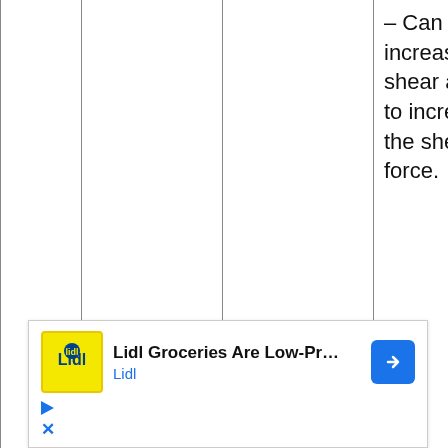|  |  |  | – Can also increase the shear angle to increase the shear force. |
| 5 | Lubrication | Bevel gears are heavily worn and require frequent... | Most use self-lubricating spherical plain bearing... |
[Figure (other): Advertisement overlay for Lidl Groceries with logo, headline 'Lidl Groceries Are Low-Priced', Lidl branding, blue arrow navigation button, and close/play controls.]